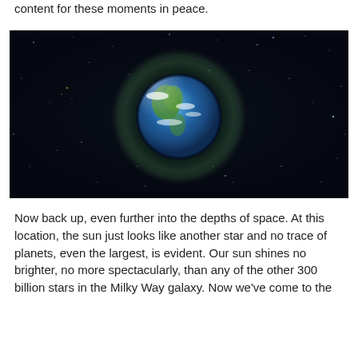content for these moments in peace.
[Figure (photo): Earth viewed from deep space against a dark starfield, with a glowing aura around the planet, stars visible throughout the dark background.]
Now back up, even further into the depths of space. At this location, the sun just looks like another star and no trace of planets, even the largest, is evident. Our sun shines no brighter, no more spectacularly, than any of the other 300 billion stars in the Milky Way galaxy. Now we've come to the